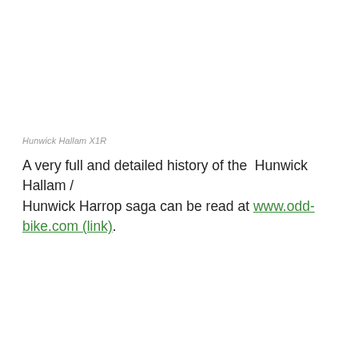Hunwick Hallam X1R
A very full and detailed history of the  Hunwick Hallam / Hunwick Harrop saga can be read at www.odd-bike.com (link).